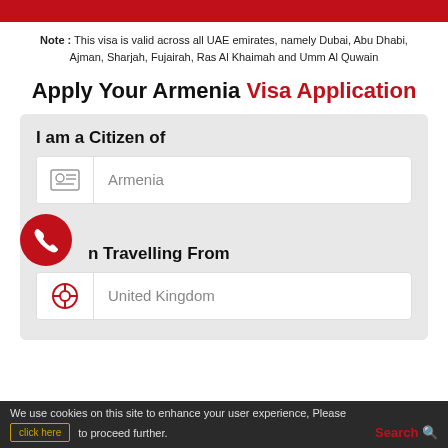Note : This visa is valid across all UAE emirates, namely Dubai, Abu Dhabi, Ajman, Sharjah, Fujairah, Ras Al Khaimah and Umm Al Quwain
Apply Your Armenia Visa Application
I am a Citizen of
Armenia
I am Travelling From
United Kingdom
We use cookies on this site to enhance your user experience, Please click here to proceed further.